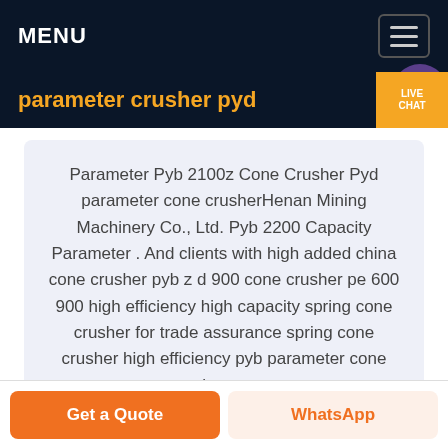MENU
parameter crusher pyd
Parameter Pyb 2100z Cone Crusher Pyd parameter cone crusherHenan Mining Machinery Co., Ltd. Pyb 2200 Capacity Parameter . And clients with high added china cone crusher pyb z d 900 cone crusher pe 600 900 high efficiency high capacity spring cone crusher for trade assurance spring cone crusher high efficiency pyb parameter cone crusher cone .
Get a Quote   WhatsApp